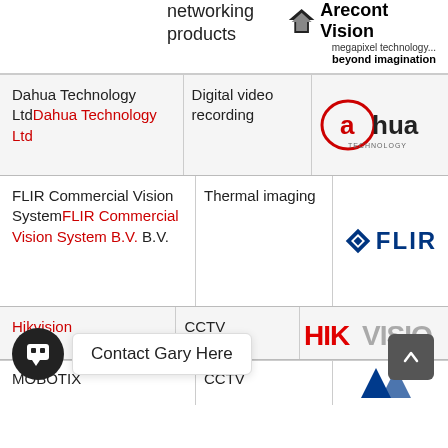networking products
[Figure (logo): Arecont Vision logo with tagline 'megapixel technology... beyond imagination']
| Company | Product | Logo |
| --- | --- | --- |
| Dahua Technology Ltd Dahua Technology Ltd | Digital video recording | [Dahua logo] |
| FLIR Commercial Vision System FLIR Commercial Vision System B.V. B.V. | Thermal imaging | [FLIR logo] |
| Hikvision | CCTV | [Hikvision logo] |
| MOBOTIX | CCTV | [Mobotix logo] |
Contact Gary Here